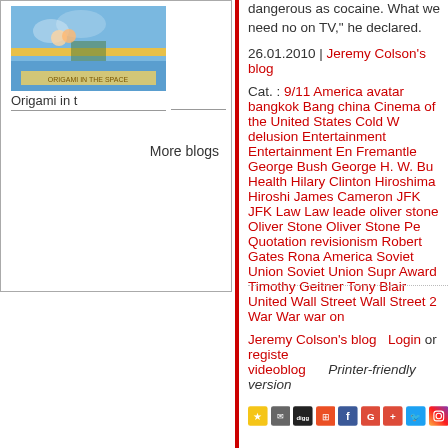[Figure (photo): Book cover image for 'Origami in t' with landscape/sky and yellow banner]
Origami in t
More blogs
dangerous as cocaine. What we need no on TV," he declared.
26.01.2010 | Jeremy Colson's blog
Cat. : 9/11 America avatar bangkok Bang china Cinema of the United States Cold W delusion Entertainment Entertainment En Fremantle George Bush George H. W. Bu Health Hilary Clinton Hiroshima Hiroshi James Cameron JFK JFK Law Law leade oliver stone Oliver Stone Oliver Stone Pe Quotation revisionism Robert Gates Rona America Soviet Union Soviet Union Supr Award Timothy Geitner Tony Blair United Wall Street Wall Street 2 War War war on
Jeremy Colson's blog   Login or registe videoblog      Printer-friendly version